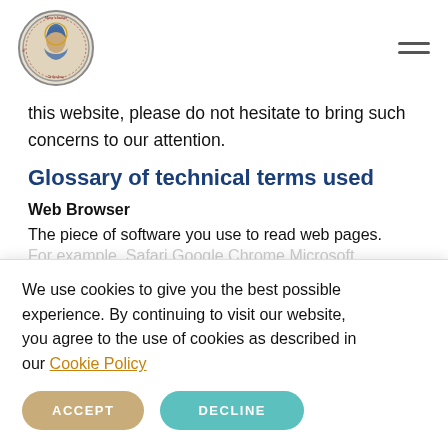Mary's Indian Orthodoxy logo and navigation
this website, please do not hesitate to bring such concerns to our attention.
Glossary of technical terms used
Web Browser
The piece of software you use to read web pages.
We use cookies to give you the best possible experience. By continuing to visit our website, you agree to the use of cookies as described in our Cookie Policy
ACCEPT  DECLINE